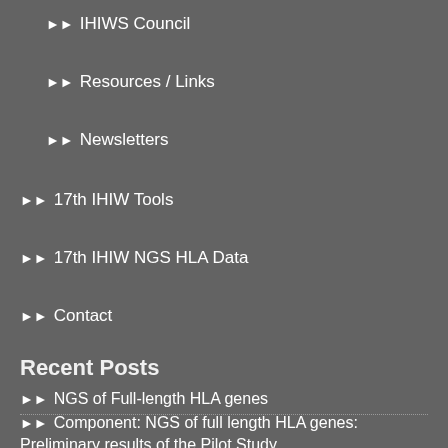➡ IHIWS Council
➡ Resources / Links
➡ Newsletters
➡ 17th IHIW Tools
➡ 17th IHIW NGS HLA Data
➡ Contact
Recent Posts
➡ NGS of Full-length HLA genes
➡ Component: NGS of full length HLA genes: Preliminary results of the Pilot Study